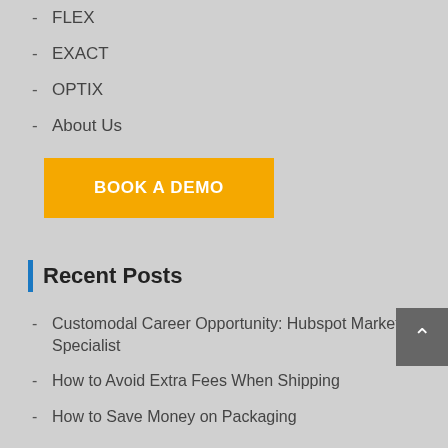FLEX
EXACT
OPTIX
About Us
BOOK A DEMO
Recent Posts
Customodal Career Opportunity: Hubspot Marketing Specialist
How to Avoid Extra Fees When Shipping
How to Save Money on Packaging